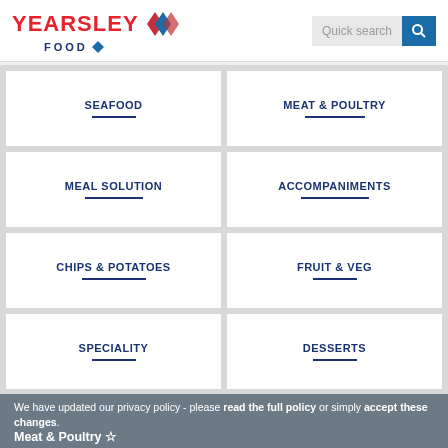[Figure (logo): Yearsley Food logo with red text and diamond graphic]
Quick search
SEAFOOD
MEAT & POULTRY
MEAL SOLUTION
ACCOMPANIMENTS
CHIPS & POTATOES
FRUIT & VEG
SPECIALITY
DESSERTS
Back to top
We have updated our privacy policy - please read the full policy or simply accept these changes.
Meat & Poultry
Cooked Burgers
4x Roast Chicken Breast